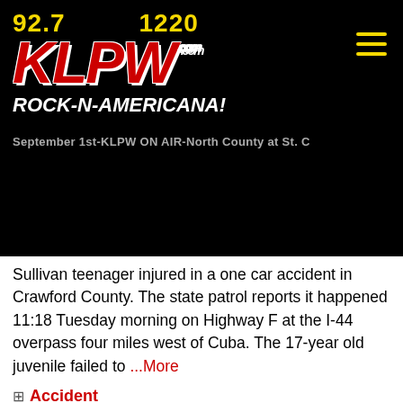[Figure (logo): KLPW radio station logo with frequencies 92.7 and 1220, red KLPW text on black background, tagline ROCK-N-AMERICANA!]
September 1st-KLPW ON AIR-North County at St. C
Sullivan teenager injured in a one car accident in Crawford County. The state patrol reports it happened 11:18 Tuesday morning on Highway F at the I-44 overpass four miles west of Cuba. The 17-year old juvenile failed to ...More
Accident
8/9/2022